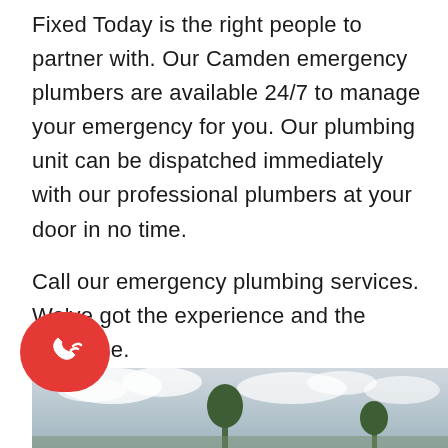Fixed Today is the right people to partner with. Our Camden emergency plumbers are available 24/7 to manage your emergency for you. Our plumbing unit can be dispatched immediately with our professional plumbers at your door in no time.
Call our emergency plumbing services. We've got the experience and the expertise.
Bonus Tip: Before emergencies happen, they leave visible signs. Please don't ignore them and think they're trivial.
[Figure (photo): Outdoor photo showing sky with clouds and a tree, partially visible at bottom of page]